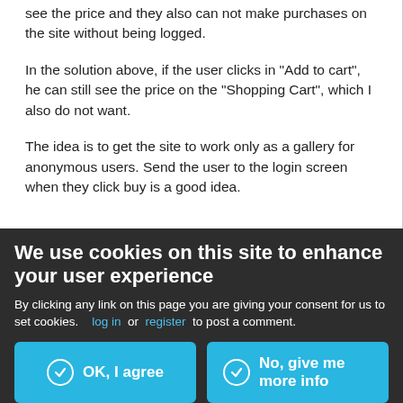see the price and they also can not make purchases on the site without being logged.
In the solution above, if the user clicks in "Add to cart", he can still see the price on the "Shopping Cart", which I also do not want.
The idea is to get the site to work only as a gallery for anonymous users. Send the user to the login screen when they click buy is a good idea.
Anyone have any solution?
Thank you.
log in or register to post a comment.
We use cookies on this site to enhance your user experience
By clicking any link on this page you are giving your consent for us to set cookies.
OK, I agree
No, give me more info
thankyou!